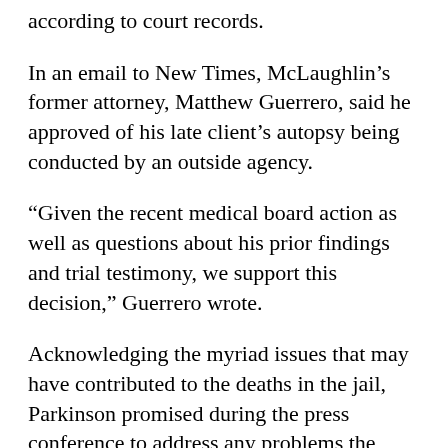according to court records.
In an email to New Times, McLaughlin's former attorney, Matthew Guerrero, said he approved of his late client's autopsy being conducted by an outside agency.
“Given the recent medical board action as well as questions about his prior findings and trial testimony, we support this decision,” Guerrero wrote.
Acknowledging the myriad issues that may have contributed to the deaths in the jail, Parkinson promised during the press conference to address any problems the investigations revealed.
“Our acceptable number of jail deaths is zero,”